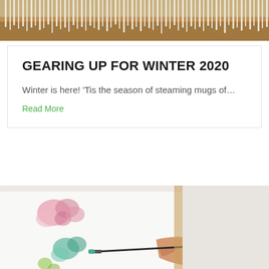[Figure (photo): Top portion of a cozy winter scene showing what appears to be a fringed/tasseled textile or scarf in white/cream tones with a warm brown background]
GEARING UP FOR WINTER 2020
Winter is here! ‘Tis the season of steaming mugs of…
Read More
[Figure (photo): Person painting watercolor flowers on a canvas/paper, holding a paintbrush, with pink and teal/green flower shapes visible on a white background]